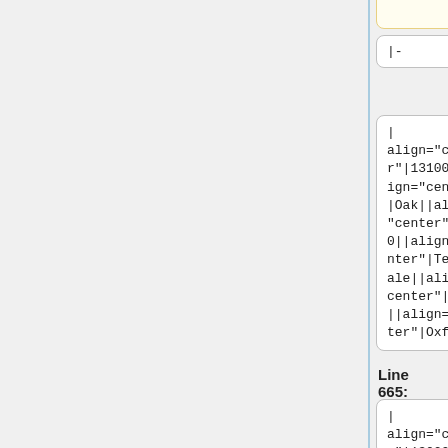|-
|-
|
align="center"|13100||align="center"|Oak||align="center"|8600||align="center"|Terryd ale||align="center"|4100||align="cen ter"|Oxford
|
align="center"|13100||align="center"|Oak||align="center"|8600||align="center"|Terryd ale||align="center"|4100||align="cen ter"|Oxford
Line 665:
Line 665:
|
align="center"|13000||align="center"|Countryside
|
align="center"|13000||align="center"|Countryside